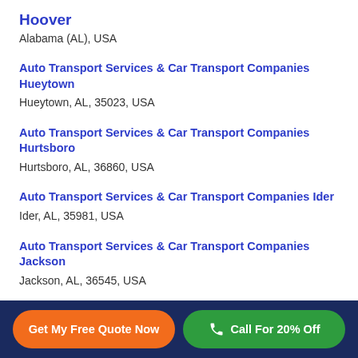Hoover
Alabama (AL), USA
Auto Transport Services & Car Transport Companies Hueytown
Hueytown, AL, 35023, USA
Auto Transport Services & Car Transport Companies Hurtsboro
Hurtsboro, AL, 36860, USA
Auto Transport Services & Car Transport Companies Ider
Ider, AL, 35981, USA
Auto Transport Services & Car Transport Companies Jackson
Jackson, AL, 36545, USA
Auto Transport Services & Car Transport Companies
Get My Free Quote Now | Call For 20% Off